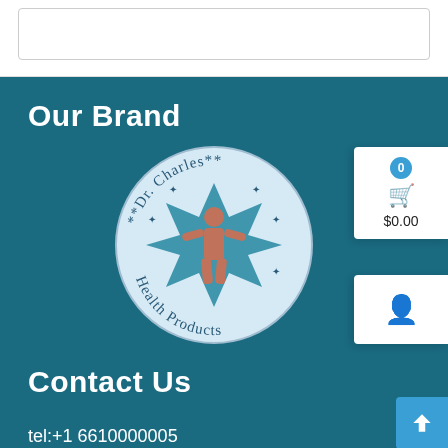[Figure (screenshot): Top white bar with search/input box outline]
Our Brand
[Figure (logo): Dr. Charles Health Products circular logo with anatomical figure in center star shape]
Contact Us
tel:+1 6610000005